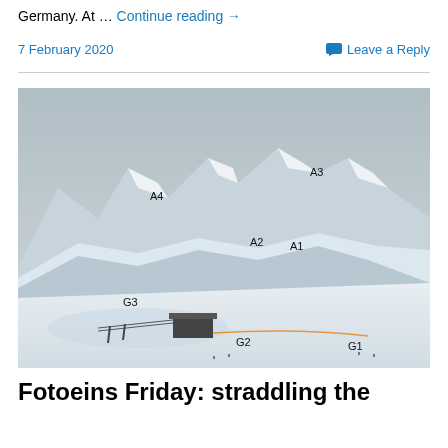Germany. At … Continue reading →
7 February 2020
Leave a Reply
[Figure (photo): Snow-covered alpine ski resort panorama with labeled peaks and ski runs: A4, A3, A2, A1 on the mountain peaks and ridges in the background; G3, G2, G1 near the ski station and lower slopes in the foreground. A ski lift station building is visible in the lower center.]
Fotoeins Friday: straddling the German–Austrian border